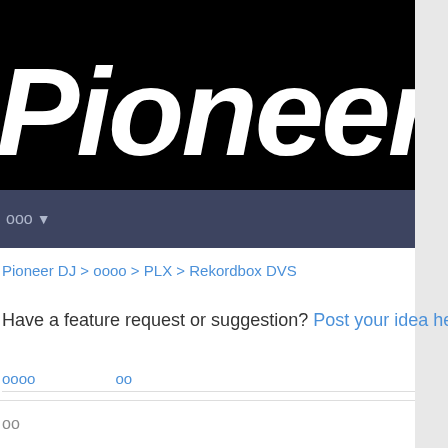[Figure (logo): Pioneer DJ logo in white italic text on black background]
ооо ▼
Pioneer DJ > оооо > PLX > Rekordbox DVS
Have a feature request or suggestion? Post your idea here
оооо     оо
оо